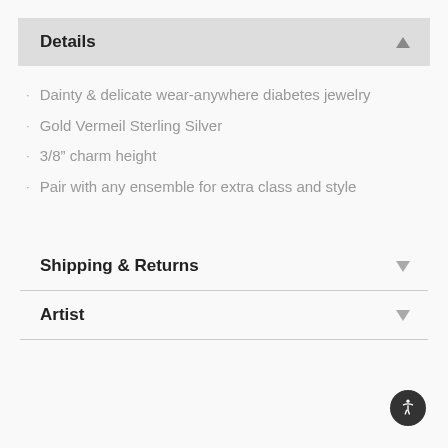Details
Dainty & delicate wear-anywhere diabetes jewelry
Gold Vermeil Sterling Silver
3/8" charm height
Pair with any ensemble for extra class and style
Shipping & Returns
Artist